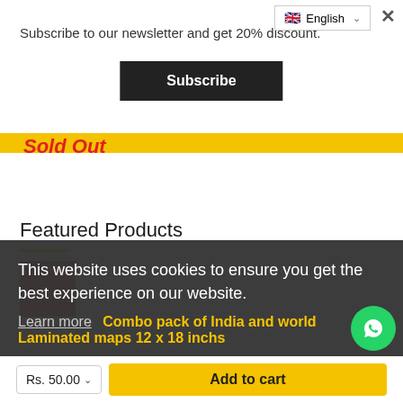Subscribe to our newsletter and get 20% discount.
Subscribe
English
Sold Out
Featured Products
This website uses cookies to ensure you get the best experience on our website.
Learn more
Combo pack of India and world Laminated maps 12 x 18 inchs
Got it!
Rs. 50.00
Add to cart